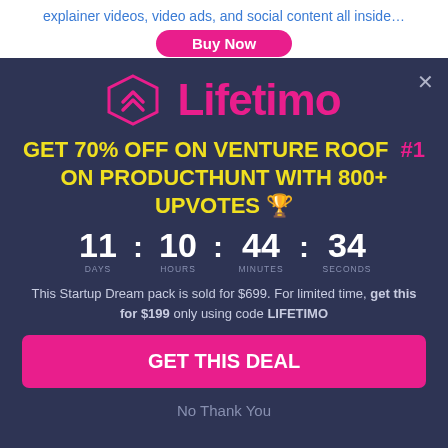explainer videos, video ads, and social content all inside…
Buy Now
[Figure (logo): Lifetimo logo with diamond/chevron icon in pink and brand name in pink]
GET 70% OFF ON VENTURE ROOF #1 ON PRODUCTHUNT with 800+ UPVOTES 🏆
11 : 10 : 44 : 34 DAYS HOURS MINUTES SECONDS
This Startup Dream pack is sold for $699. For limited time, get this for $199 only using code LIFETIMO
GET THIS DEAL
No Thank You